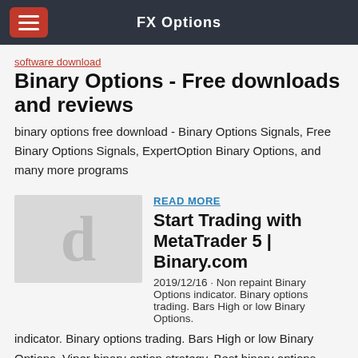FX Options
software download
Binary Options - Free downloads and reviews
binary options free download - Binary Options Signals, Free Binary Options Signals, ExpertOption Binary Options, and many more programs
READ MORE
[Figure (illustration): Placeholder thumbnail with a large letter 'd' on grey background]
Start Trading with MetaTrader 5 | Binary.com
2019/12/16 · Non repaint Binary Options indicator. Binary options trading. Bars High or low Binary Options. Viper binary option strategy. Best binary options forex signals provider reviews. Some good company also provide binary options trading signals free for …